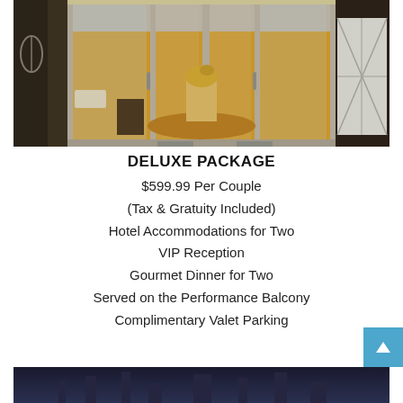[Figure (photo): Hotel entrance with revolving glass doors, visible lobby interior with sculpture on pedestal, warm amber lighting inside, decorative lattice panel on right side]
DELUXE PACKAGE
$599.99 Per Couple
(Tax & Gratuity Included)
Hotel Accommodations for Two
VIP Reception
Gourmet Dinner for Two
Served on the Performance Balcony
Complimentary Valet Parking
[Figure (photo): Dark blue background, partially visible hotel exterior or venue at night]